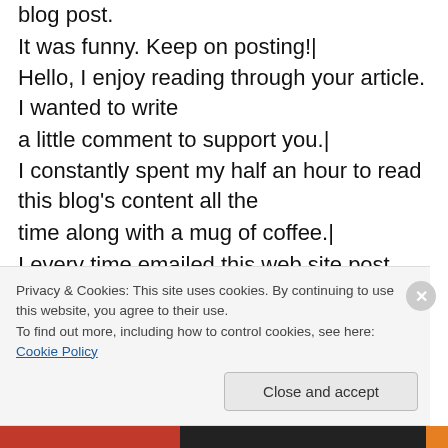blog post.
It was funny. Keep on posting!|
Hello, I enjoy reading through your article. I wanted to write a little comment to support you.|
I constantly spent my half an hour to read this blog's content all the time along with a mug of coffee.|
I every time emailed this web site post page to all my friends, for the reason that if like to read it next my links will
Privacy & Cookies: This site uses cookies. By continuing to use this website, you agree to their use.
To find out more, including how to control cookies, see here: Cookie Policy
Close and accept